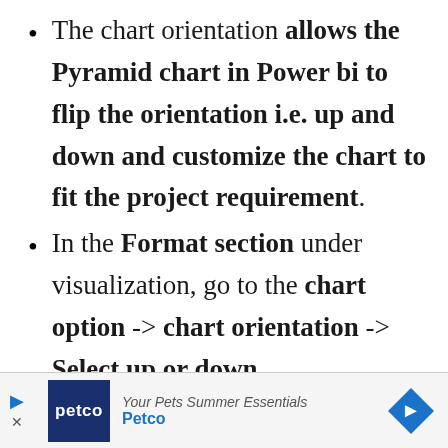The chart orientation allows the Pyramid chart in Power bi to flip the orientation i.e. up and down and customize the chart to fit the project requirement.
In the Format section under visualization, go to the chart option -> chart orientation -> Select up or down.
[Figure (other): Advertisement banner at the bottom of the page for Petco 'Your Pets Summer Essentials' with Petco logo, blue play arrow, close X, and a blue diamond navigation arrow on the right.]